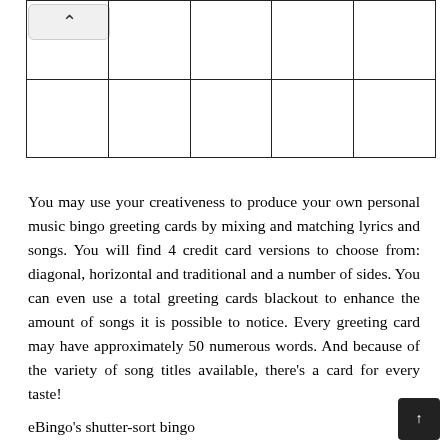[Figure (other): Partial bingo grid showing 2 rows and 5 columns of empty cells with an up-arrow button in the top-left corner]
You may use your creativeness to produce your own personal music bingo greeting cards by mixing and matching lyrics and songs. You will find 4 credit card versions to choose from: diagonal, horizontal and traditional and a number of sides. You can even use a total greeting cards blackout to enhance the amount of songs it is possible to notice. Every greeting card may have approximately 50 numerous words. And because of the variety of song titles available, there's a card for every taste!
eBingo's shutter-sort bingo